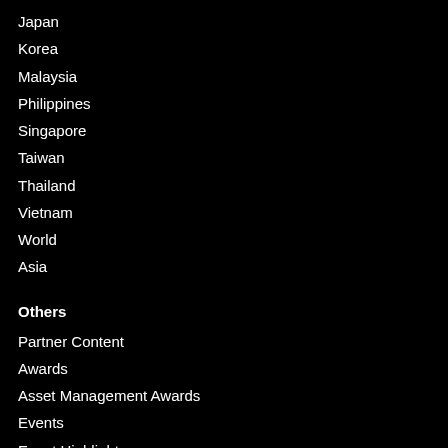Japan
Korea
Malaysia
Philippines
Singapore
Taiwan
Thailand
Vietnam
World
Asia
Others
Partner Content
Awards
Asset Management Awards
Events
Event Highlights
Webinars